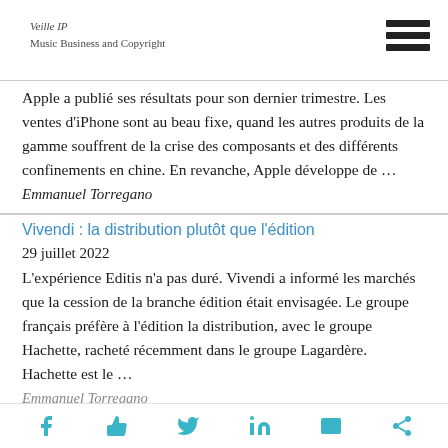Veille IP
Music Business and Copyright
Apple a publié ses résultats pour son dernier trimestre. Les ventes d'iPhone sont au beau fixe, quand les autres produits de la gamme souffrent de la crise des composants et des différents confinements en chine. En revanche, Apple développe de …
Emmanuel Torregano
Vivendi : la distribution plutôt que l'édition
29 juillet 2022
L'expérience Editis n'a pas duré. Vivendi a informé les marchés que la cession de la branche édition était envisagée. Le groupe français préfère à l'édition la distribution, avec le groupe Hachette, racheté récemment dans le groupe Lagardère. Hachette est le …
Emmanuel Torregano
f  👍  🐦  in  ✉  ⋈